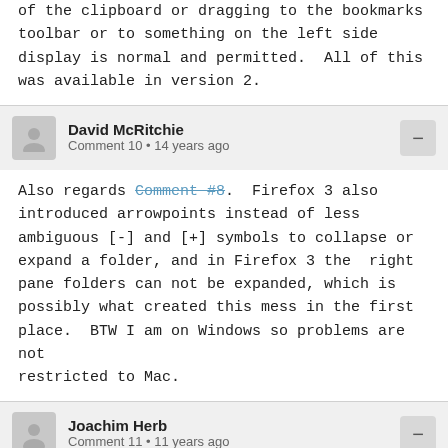of the clipboard or dragging to the bookmarks toolbar or to something on the left side display is normal and permitted.  All of this was available in version 2.
David McRitchie
Comment 10 • 14 years ago
Also regards Comment #8.  Firefox 3 also introduced arrowpoints instead of less ambiguous [-] and [+] symbols to collapse or expand a folder, and in Firefox 3 the right pane folders can not be expanded, which is possibly what created this mess in the first place.  BTW I am on Windows so problems are not restricted to Mac.
Joachim Herb
Comment 11 • 11 years ago
The same applies for the bookmark sidebar.